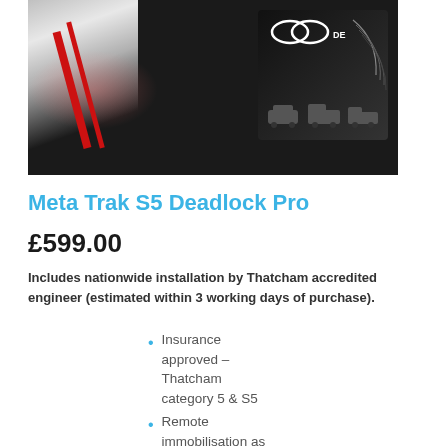[Figure (photo): Product photo showing Meta Trak S5 Deadlock Pro device with red accents on left and black product box with logo on right]
Meta Trak S5 Deadlock Pro
£599.00
Includes nationwide installation by Thatcham accredited engineer (estimated within 3 working days of purchase).
Insurance approved – Thatcham category 5 & S5
Remote immobilisation as standard